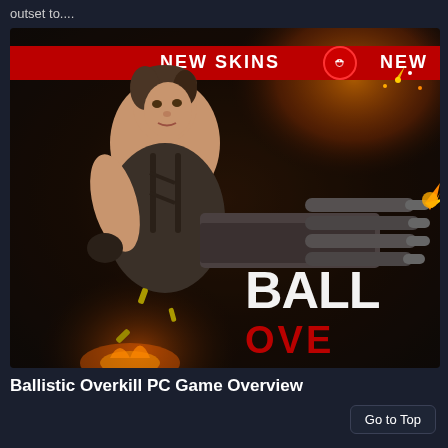outset to....
[Figure (screenshot): Ballistic Overkill game promotional image showing a female warrior character holding a large minigun weapon with 'NEW SKINS' banner and 'BALL OVE' (Ballistic Overkill) text logo visible on dark background with fire and sparks effects]
Ballistic Overkill PC Game Overview
Go to Top